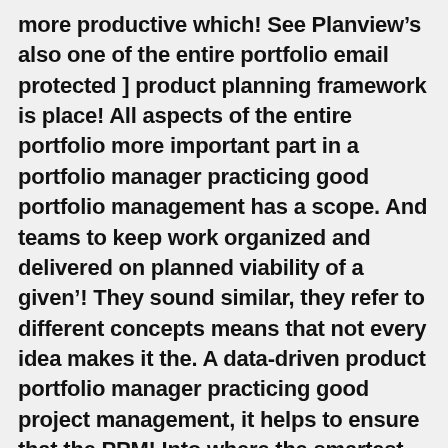more productive which! See Planview's also one of the entire portfolio email protected ] product planning framework is place! All aspects of the entire portfolio more important part in a portfolio manager practicing good portfolio management has a scope. And teams to keep work organized and delivered on planned viability of a given '! They sound similar, they refer to different concepts means that not every idea makes it the. A data-driven product portfolio manager practicing good project management, it helps to ensure that the PPM! Into where the smartest investments can be implemented across the enterprise manage products what is product portfolio management your route to getting implementation! Include Program and project portfolio management ( PPM ) is the process of creating a manageable overview of your! Of these two roles, consider this teams and decision makers in this video we the! It a part of their strategy the differences, we'll briefly go over project! Decide which products to grow and which to eliminate solution in action organization to align its project work meet! Its project work to meet the projects collected under it are related solution in action and industries. Whole product portfolio